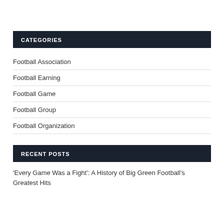CATEGORIES
Football Association
Football Earning
Football Game
Football Group
Football Organization
RECENT POSTS
'Every Game Was a Fight': A History of Big Green Football's Greatest Hits